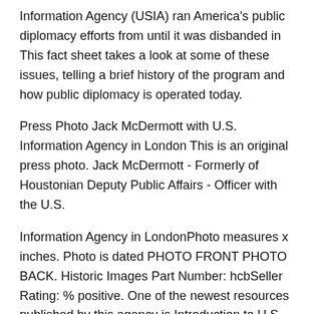Information Agency (USIA) ran America's public diplomacy efforts from until it was disbanded in This fact sheet takes a look at some of these issues, telling a brief history of the program and how public diplomacy is operated today.
Press Photo Jack McDermott with U.S. Information Agency in London This is an original press photo. Jack McDermott - Formerly of Houstonian Deputy Public Affairs - Officer with the U.S.
Information Agency in LondonPhoto measures x inches. Photo is dated PHOTO FRONT PHOTO BACK. Historic Images Part Number: hcbSeller Rating: % positive. One of the newest resources published by this agency is Introduction to U.S.
Export Controls for the Space Industry that covers basic information to help commercial space organizations and entrepreneurs to prepare for the export control process withnin the commercial space industry.
Snowden signed contracts while working for the NSA about handling classified information that detailed the government's sweeping surveillance programs, and his book and speeches are violations that